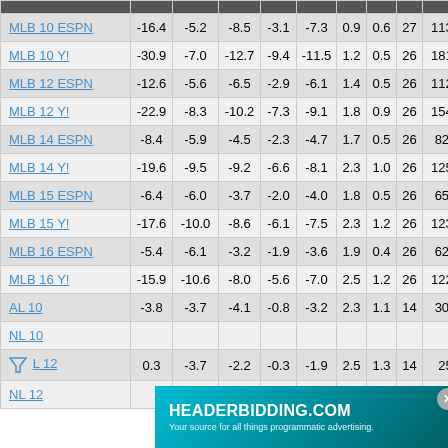|  |  |  |  |  |  |  |  |  |  |
| --- | --- | --- | --- | --- | --- | --- | --- | --- | --- |
| MLB 10 ESPN | -16.4 | -5.2 | -8.5 | -3.1 | -7.3 | 0.9 | 0.6 | 27 | 1135 |
| MLB 10 Y! | -30.9 | -7.0 | -12.7 | -9.4 | -11.5 | 1.2 | 0.5 | 26 | 1817 |
| MLB 12 ESPN | -12.6 | -5.6 | -6.5 | -2.9 | -6.1 | 1.4 | 0.5 | 26 | 1122 |
| MLB 12 Y! | -22.9 | -8.3 | -10.2 | -7.3 | -9.1 | 1.8 | 0.9 | 26 | 1540 |
| MLB 14 ESPN | -8.4 | -5.9 | -4.5 | -2.3 | -4.7 | 1.7 | 0.5 | 26 | 826 |
| MLB 14 Y! | -19.6 | -9.5 | -9.2 | -6.6 | -8.1 | 2.3 | 1.0 | 26 | 1256 |
| MLB 15 ESPN | -6.4 | -6.0 | -3.7 | -2.0 | -4.0 | 1.8 | 0.5 | 26 | 651 |
| MLB 15 Y! | -17.6 | -10.0 | -8.6 | -6.1 | -7.5 | 2.3 | 1.2 | 26 | 1231 |
| MLB 16 ESPN | -5.4 | -6.1 | -3.2 | -1.9 | -3.6 | 1.9 | 0.4 | 26 | 626 |
| MLB 16 Y! | -15.9 | -10.6 | -8.0 | -5.6 | -7.0 | 2.5 | 1.2 | 26 | 1226 |
| AL 10 | -3.8 | -3.7 | -4.1 | -0.8 | -3.2 | 2.3 | 1.1 | 14 | 308 |
| NL 10 |  |  |  |  |  |  |  |  |  |
| AL 12 | 0.3 | -3.7 | -2.2 | -0.3 | -1.9 | 2.5 | 1.3 | 14 | 25 |
| NL 12 |  |  |  |  |  |  |  |  |  |